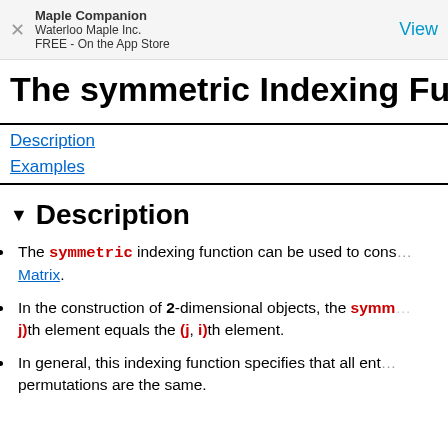Maple Companion
Waterloo Maple Inc.
FREE - On the App Store
The symmetric Indexing Function
Description
Examples
Description
The symmetric indexing function can be used to construct a symmetric Matrix.
In the construction of 2-dimensional objects, the symmetric indexing function specifies that the (i, j)th element equals the (j, i)th element.
In general, this indexing function specifies that all entries whose indices are permutations are the same.